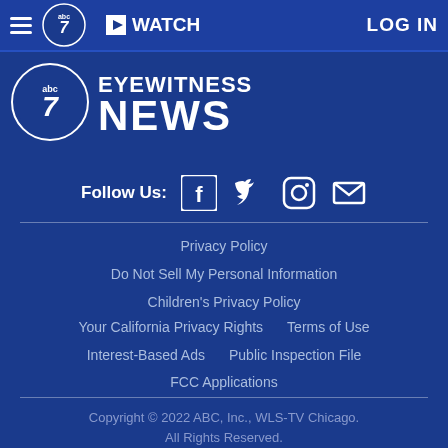WATCH   LOG IN
[Figure (logo): ABC 7 Eyewitness News logo with circular abc7 badge and large EYEWITNESS NEWS text]
Follow Us:
Privacy Policy
Do Not Sell My Personal Information
Children's Privacy Policy
Your California Privacy Rights   Terms of Use
Interest-Based Ads   Public Inspection File
FCC Applications
Copyright © 2022 ABC, Inc., WLS-TV Chicago. All Rights Reserved.